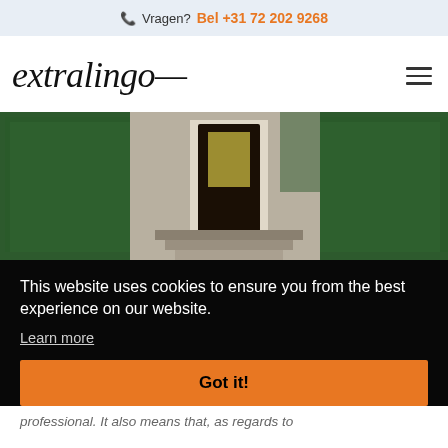Vragen?  Bel +31 72 202 9268
[Figure (logo): extralingo handwritten logo with hamburger menu icon]
[Figure (photo): Building entrance with dark wooden door, stone steps, and green hedges on both sides]
This website uses cookies to ensure you from the best experience on our website.
Learn more
Got it!
professional. It also means that, as regards to